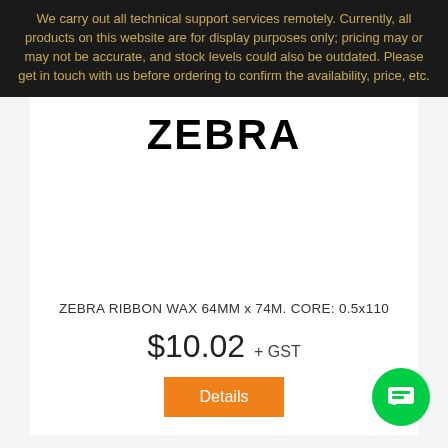We carry out all technical support services remotely. Currently, all products on this website are for display purposes only; pricing may or may not be accurate, and stock levels could also be outdated. Please get in touch with us before ordering to confirm the availability, price, etc.
ZEBRA
ZEBRA RIBBON WAX 64MM x 74M. CORE: 0.5x110
$10.02 + GST
Details